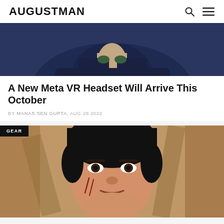AUGUSTMAN
[Figure (photo): Top portion of an article image showing a person, dark blue tones, partially cropped]
A New Meta VR Headset Will Arrive This October
BY MANAS SEN GUPTA, AUG 28 2022
[Figure (photo): Photo of Bruce Lee with scratches on his face, from a martial arts film scene, with GEAR category tag overlay]